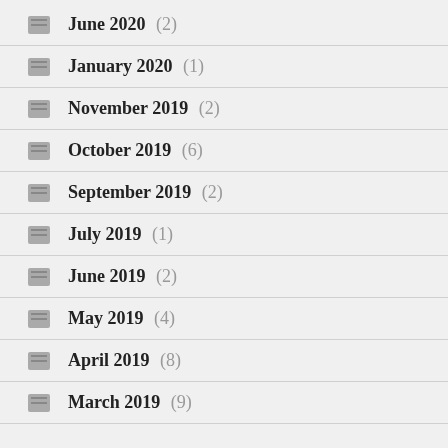June 2020 (2)
January 2020 (1)
November 2019 (2)
October 2019 (6)
September 2019 (2)
July 2019 (1)
June 2019 (2)
May 2019 (4)
April 2019 (8)
March 2019 (9)